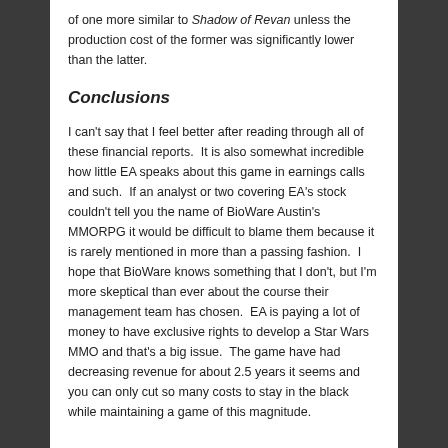of one more similar to Shadow of Revan unless the production cost of the former was significantly lower than the latter.
Conclusions
I can't say that I feel better after reading through all of these financial reports.  It is also somewhat incredible how little EA speaks about this game in earnings calls and such.  If an analyst or two covering EA's stock couldn't tell you the name of BioWare Austin's MMORPG it would be difficult to blame them because it is rarely mentioned in more than a passing fashion.  I hope that BioWare knows something that I don't, but I'm more skeptical than ever about the course their management team has chosen.  EA is paying a lot of money to have exclusive rights to develop a Star Wars MMO and that's a big issue.  The game have had decreasing revenue for about 2.5 years it seems and you can only cut so many costs to stay in the black while maintaining a game of this magnitude.